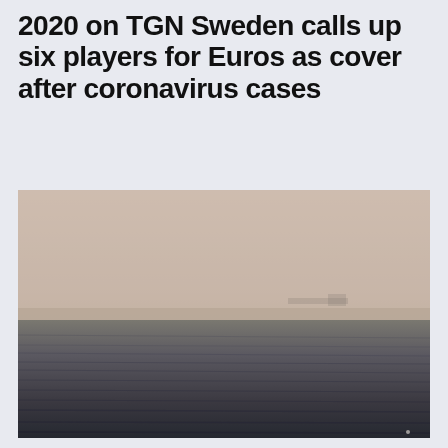2020 on TGN Sweden calls up six players for Euros as cover after coronavirus cases
[Figure (photo): A misty, foggy seascape photograph in muted sepia-grey tones showing calm water in the foreground and a barely visible shoreline or structure on the horizon obscured by heavy fog.]